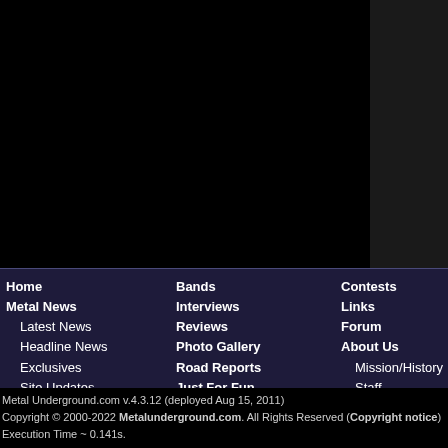[Figure (other): Black top section of a website page with dark right sidebar]
Home
Metal News
Latest News
Headline News
Exclusives
Site Updates
Submit News
Bands
Interviews
Reviews
Photo Gallery
Road Reports
Just For Fun
Contests
Links
Forum
About Us
Mission/History
Staff
Contact Us
Colum
Unea
Unde
Sund
Pit St
Rock
Op/Ed
Metal Underground.com v.4.3.12 (deployed Aug 15, 2011)
Copyright © 2000-2022 Metalunderground.com. All Rights Reserved (Copyright notice)
Execution Time ~ 0.141s.